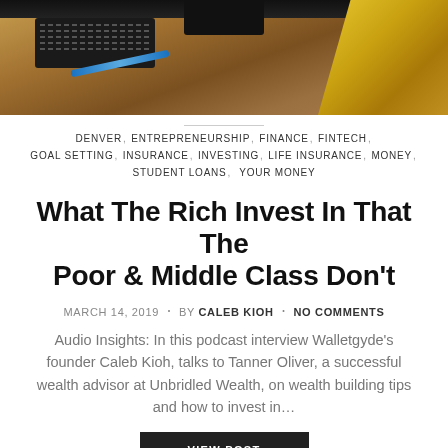[Figure (photo): Photo of a desk with a keyboard, pen, dark device/charger, and yellow fabric in the background on a wooden surface]
DENVER, ENTREPRENEURSHIP, FINANCE, FINTECH, GOAL SETTING, INSURANCE, INVESTING, LIFE INSURANCE, MONEY, STUDENT LOANS, YOUR MONEY
What The Rich Invest In That The Poor & Middle Class Don't
MARCH 14, 2019 · BY CALEB KIOH · NO COMMENTS
Audio Insights: In this podcast interview Walletgyde's founder Caleb Kioh, talks to Tanner Oliver, a successful wealth advisor at Unbridled Wealth, on wealth building tips and how to invest in…
VIEW POST